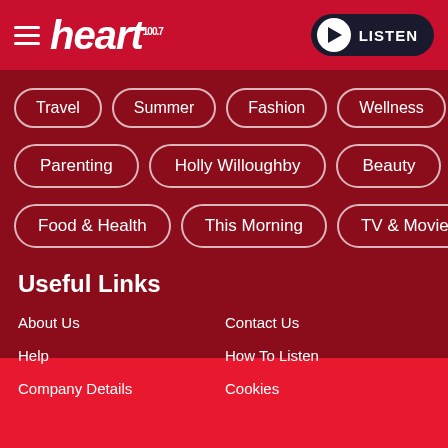heart 100.7 — LISTEN
Travel
Summer
Fashion
Wellness
Parenting
Holly Willoughby
Beauty
Food & Health
This Morning
TV & Movies
Useful Links
About Us
Contact Us
Help
How To Listen
Company Details
Cookies